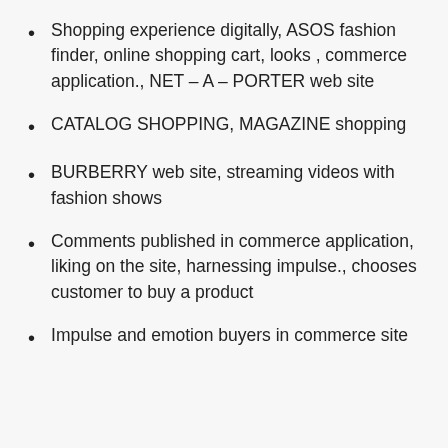Shopping experience digitally, ASOS fashion finder, online shopping cart, looks , commerce application., NET – A – PORTER web site
CATALOG SHOPPING, MAGAZINE shopping
BURBERRY web site, streaming videos with fashion shows
Comments published in commerce application, liking on the site, harnessing impulse., chooses customer to buy a product
Impulse and emotion buyers in commerce site